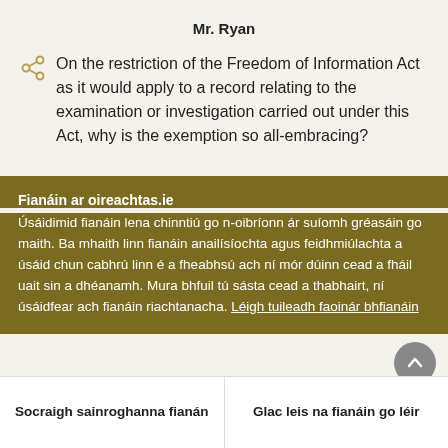Mr. Ryan
On the restriction of the Freedom of Information Act as it would apply to a record relating to the examination or investigation carried out under this Act, why is the exemption so all-embracing?
Fianáin ar oireachtas.ie
Úsáidimid fianáin lena chinntiú go n-oibríonn ár suíomh gréasáin go maith. Ba mhaith linn fianáin anailísíochta agus feidhmiúlachta a úsáid chun cabhrú linn é a fheabhsú ach ní mór dúinn cead a fháil uait sin a dhéanamh. Mura bhfuil tú sásta cead a thabhairt, ní úsáidfear ach fianáin riachtanacha. Léigh tuileadh faoinár bhfianáin
Socraigh sainroghanna fianán
Glac leis na fianáin go léir